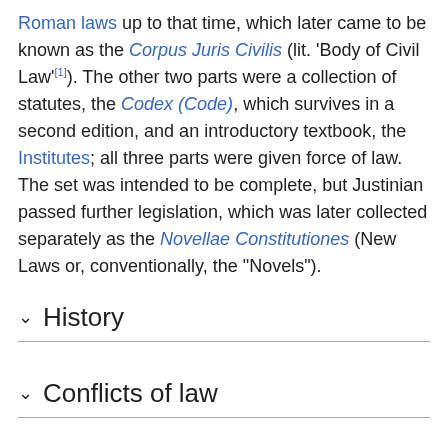Roman laws up to that time, which later came to be known as the Corpus Juris Civilis (lit. 'Body of Civil Law'[1]). The other two parts were a collection of statutes, the Codex (Code), which survives in a second edition, and an introductory textbook, the Institutes; all three parts were given force of law. The set was intended to be complete, but Justinian passed further legislation, which was later collected separately as the Novellae Constitutiones (New Laws or, conventionally, the "Novels").
History
Conflicts of law
Contents